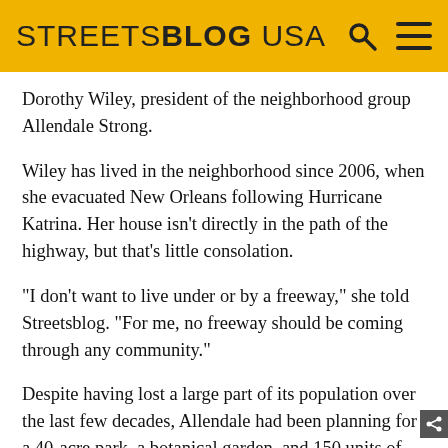STREETSBLOG USA
Dorothy Wiley, president of the neighborhood group Allendale Strong.
Wiley has lived in the neighborhood since 2006, when she evacuated New Orleans following Hurricane Katrina. Her house isn’t directly in the path of the highway, but that’s little consolation.
“I don’t want to live under or by a freeway,” she told Streetsblog. “For me, no freeway should be coming through any community.”
Despite having lost a large part of its population over the last few decades, Allendale had been planning for a 40-acre park, a botanical garden, and 150 units of new housing three years ago, the Shreveport Times